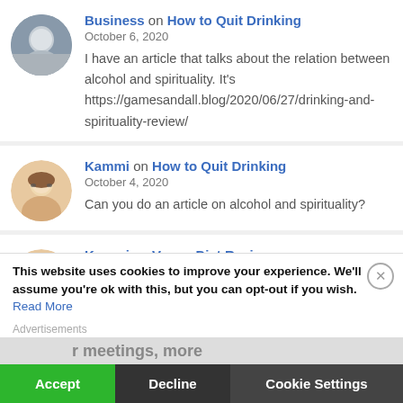Business on How to Quit Drinking
October 6, 2020
I have an article that talks about the relation between alcohol and spirituality. It's https://gamesandall.blog/2020/06/27/drinking-and-spirituality-review/
Kammi on How to Quit Drinking
October 4, 2020
Can you do an article on alcohol and spirituality?
Kammi on Vegan Diet Review
October 4, 2020
What a beautiful article! Every word is truth. Thank you!
This website uses cookies to improve your experience. We'll assume you're ok with this, but you can opt-out if you wish. Read More
Accept
Decline
er meetings, more
Cookie Settings